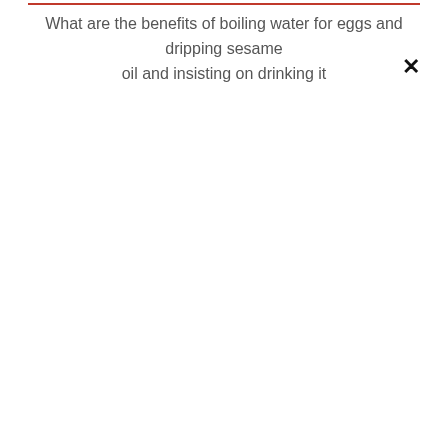What are the benefits of boiling water for eggs and dripping sesame oil and insisting on drinking it